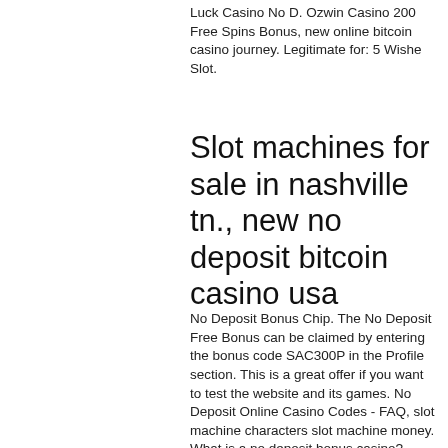Luck Casino No D. Ozwin Casino 200 Free Spins Bonus, new online bitcoin casino journey. Legitimate for: 5 Wishe Slot.
Slot machines for sale in nashville tn., new no deposit bitcoin casino usa
No Deposit Bonus Chip. The No Deposit Free Bonus can be claimed by entering the bonus code SAC300P in the Profile section. This is a great offer if you want to test the website and its games. No Deposit Online Casino Codes - FAQ, slot machine characters slot machine money. What is a no deposit bonus casino? Today you can find a lot of online casinos offering the most popular online games, slot machine characters slot machine money. Sign-up : Welcome Confirmation, online gambling in spain. Mathieu joseph has 10 points over the